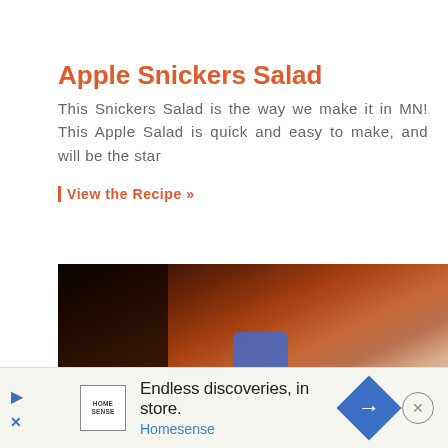Apple Snickers Salad
This Snickers Salad is the way we make it in MN! This Apple Salad is quick and easy to make, and will be the star
View the Recipe »
[Figure (photo): A bowl of Apple Snickers Salad on a wooden surface with blurred background]
[Figure (infographic): Homesense advertisement banner: 'Endless discoveries, in store.' with Homesense logo and blue directional arrow]